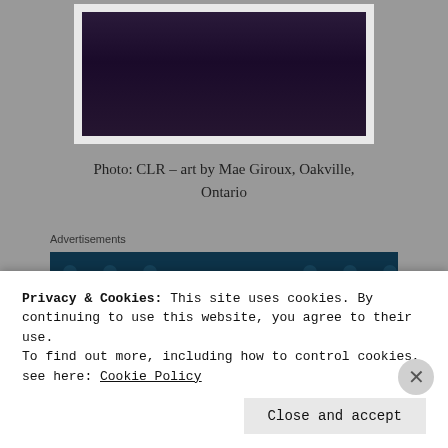[Figure (photo): Partial view of framed artwork showing dark purple/navy tones, framed in white, mounted on gray wall]
Photo: CLR – art by Mae Giroux, Oakville, Ontario
Advertisements
[Figure (screenshot): Advertisement banner with dark teal background and polka dots pattern reading: Create surveys, polls, quizzes, and forms.]
Privacy & Cookies: This site uses cookies. By continuing to use this website, you agree to their use.
To find out more, including how to control cookies, see here: Cookie Policy
Close and accept